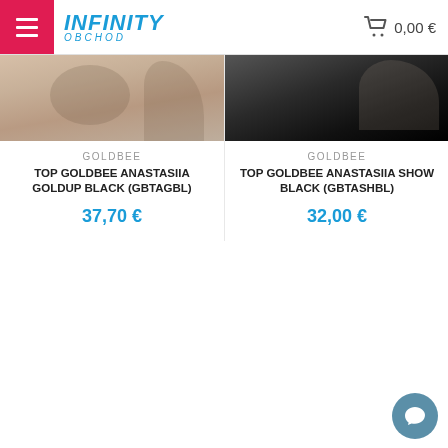Infinity Obchod — 0,00 €
[Figure (photo): Product photo of GoldBee Anastasiia Goldup Black top, showing torso/skin area]
GOLDBEE
TOP GOLDBEE ANASTASIIA GOLDUP BLACK (GBTAGBL)
37,70 €
[Figure (photo): Product photo of GoldBee Anastasiia Show Black top, showing dark/black clothing on torso]
GOLDBEE
TOP GOLDBEE ANASTASIIA SHOW BLACK (GBTASHBL)
32,00 €